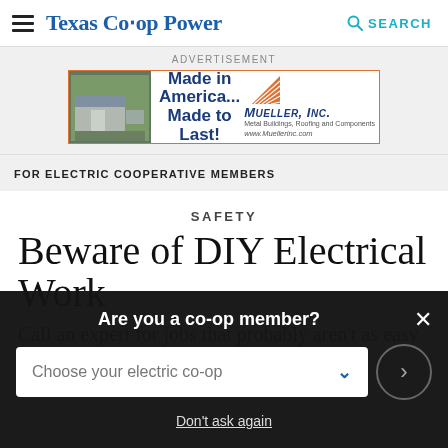Texas Co-op Power   SEARCH
[Figure (advertisement): Mueller Inc. advertisement banner: 'Made in America... Made to Last!' with building photo and orange triangle logo]
FOR ELECTRIC COOPERATIVE MEMBERS
SAFETY
Beware of DIY Electrical Work
Call an expert for jobs that probably aren't as easy
Are you a co-op member?
Choose your electric co-op
Don't ask again